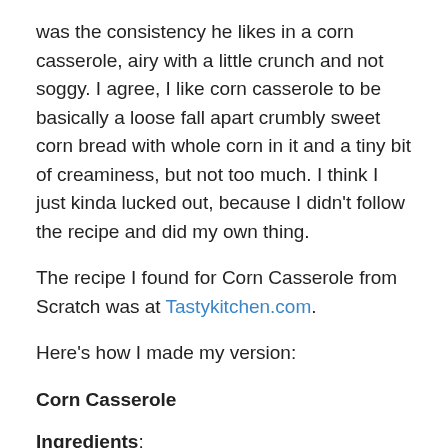was the consistency he likes in a corn casserole, airy with a little crunch and not soggy. I agree, I like corn casserole to be basically a loose fall apart crumbly sweet corn bread with whole corn in it and a tiny bit of creaminess, but not too much. I think I just kinda lucked out, because I didn't follow the recipe and did my own thing.
The recipe I found for Corn Casserole from Scratch was at Tastykitchen.com.
Here’s how I made my version:
Corn Casserole
Ingredients:
Cut the corn off of 5 large ears of corn (ours was leftover from the other day so it was already cooked and was cold